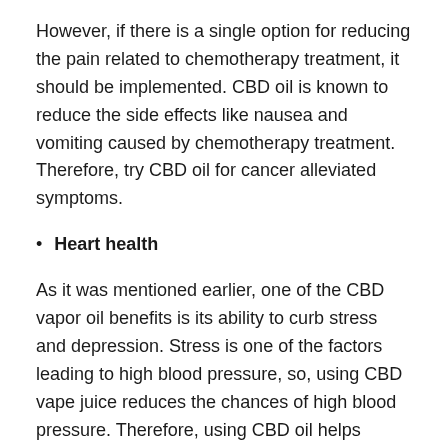However, if there is a single option for reducing the pain related to chemotherapy treatment, it should be implemented. CBD oil is known to reduce the side effects like nausea and vomiting caused by chemotherapy treatment. Therefore, try CBD oil for cancer alleviated symptoms.
Heart health
As it was mentioned earlier, one of the CBD vapor oil benefits is its ability to curb stress and depression. Stress is one of the factors leading to high blood pressure, so, using CBD vape juice reduces the chances of high blood pressure. Therefore, using CBD oil helps prevent heart-related health problems.
Epilepsy